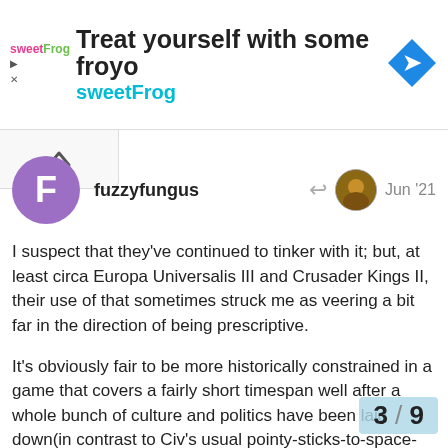[Figure (other): sweetFrog frozen yogurt advertisement banner with logo, headline 'Treat yourself with some froyo', and navigation diamond icon]
fuzzyfungus
Jun '21
I suspect that they've continued to tinker with it; but, at least circa Europa Universalis III and Crusader Kings II, their use of that sometimes struck me as veering a bit far in the direction of being prescriptive.
It's obviously fair to be more historically constrained in a game that covers a fairly short timespan well after a whole bunch of culture and politics have been laid down(in contrast to Civ's usual pointy-sticks-to-space-flight scope); but there was still an awful lot of “these two barons somewhere in southern france are essentially identical; except I'm the de jure lige of one, and so can attempt to vassalize him without penalty; but the one next door belongs to a different territory because of something that happened in the 13th century so I don't ev... holli on him” details.
3 / 9